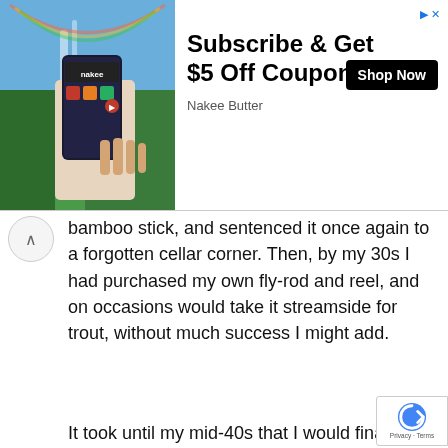[Figure (photo): Advertisement banner: photo of hand holding a smartphone with Nakee app, waterfall/nature background. Text: 'Subscribe & Get $5 Off Coupon', 'Shop Now' button, 'Nakee Butter' brand name.]
bamboo stick, and sentenced it once again to a forgotten cellar corner. Then, by my 30s I had purchased my own fly-rod and reel, and on occasions would take it streamside for trout, without much success I might add.
It took until my mid-40s that I would finally become “avid” about fly-fishing for trout, a point forward until now that sees my pursuit of this salmonidae family member almost wholly fulfilled by fly-rod.
A couple of days prior to the recent opening of spring gobbler season I headed to camp in Tioga County pass the time until the season’s start by fly-fishing Big Pine Creek.